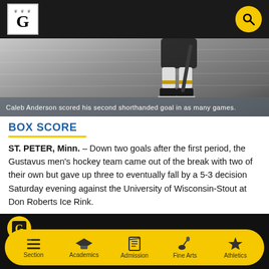Gustavus Adolphus College — Header with logo and search
[Figure (photo): Hockey player legs on ice rink, black and white photo]
Caleb Anderson scored his second shorthanded goal in as many games.
BOX SCORE
ST. PETER, Minn. – Down two goals after the first period, the Gustavus men's hockey team came out of the break with two of their own but gave up three to eventually fall by a 5-3 decision Saturday evening against the University of Wisconsin-Stout at Don Roberts Ice Rink.
[Figure (screenshot): Bottom of page showing Gustavus logo and navigation bar with Section, Academics, Admission, Fine Arts, Athletics]